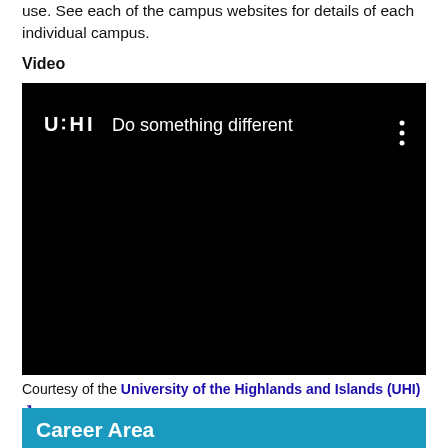use. See each of the campus websites for details of each individual campus.
Video
[Figure (screenshot): Embedded video player with black background showing UHI logo and title 'Do something different' with a three-dot menu icon]
Courtesy of the University of the Highlands and Islands (UHI) ↗
Career Area
Arts, Social Sciences and Languages